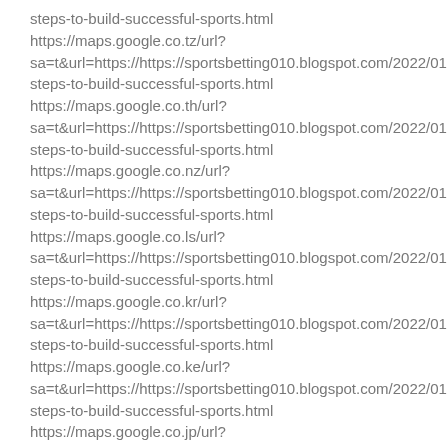steps-to-build-successful-sports.html
https://maps.google.co.tz/url?
sa=t&url=https://https://sportsbetting010.blogspot.com/2022/01
steps-to-build-successful-sports.html
https://maps.google.co.th/url?
sa=t&url=https://https://sportsbetting010.blogspot.com/2022/01
steps-to-build-successful-sports.html
https://maps.google.co.nz/url?
sa=t&url=https://https://sportsbetting010.blogspot.com/2022/01
steps-to-build-successful-sports.html
https://maps.google.co.ls/url?
sa=t&url=https://https://sportsbetting010.blogspot.com/2022/01
steps-to-build-successful-sports.html
https://maps.google.co.kr/url?
sa=t&url=https://https://sportsbetting010.blogspot.com/2022/01
steps-to-build-successful-sports.html
https://maps.google.co.ke/url?
sa=t&url=https://https://sportsbetting010.blogspot.com/2022/01
steps-to-build-successful-sports.html
https://maps.google.co.jp/url?
sa=t&url=https://https://sportsbetting010.blogspot.com/2022/01